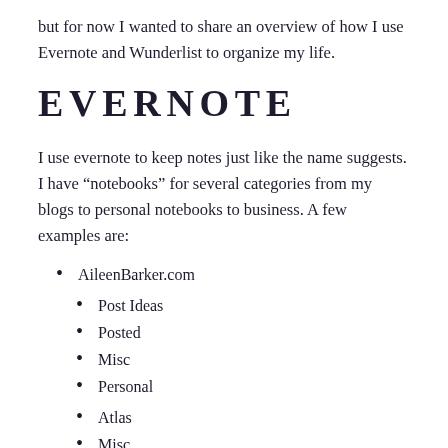but for now I wanted to share an overview of how I use Evernote and Wunderlist to organize my life.
EVERNOTE
I use evernote to keep notes just like the name suggests. I have “notebooks” for several categories from my blogs to personal notebooks to business. A few examples are:
AileenBarker.com
Post Ideas
Posted
Misc
Personal
Atlas
Misc
Cleaning /